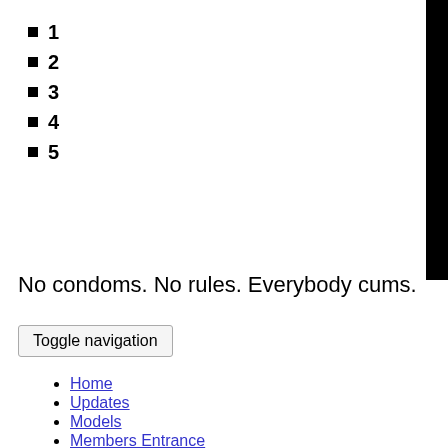1
2
3
4
5
No condoms. No rules. Everybody cums.
Toggle navigation
Home
Updates
Models
Members Entrance
CLICK TO JOIN
1.
2.
3.